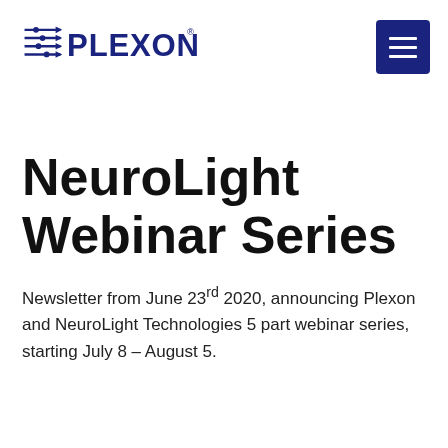[Figure (logo): Plexon company logo in dark blue with horizontal lines and arrows on the left side]
NeuroLight Webinar Series
Newsletter from June 23rd 2020, announcing Plexon and NeuroLight Technologies 5 part webinar series, starting July 8 – August 5.